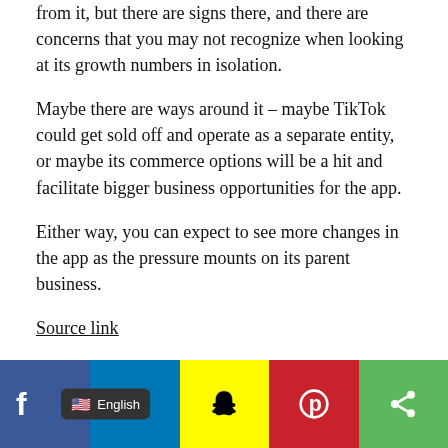from it, but there are signs there, and there are concerns that you may not recognize when looking at its growth numbers in isolation.
Maybe there are ways around it – maybe TikTok could get sold off and operate as a separate entity, or maybe its commerce options will be a hit and facilitate bigger business opportunities for the app.
Either way, you can expect to see more changes in the app as the pressure mounts on its parent business.
Source link
RELATED TOPICS: #APP #INCREASING #LATEST #PRESSURE #PROVISIONS #REFLECT #REVENUE #TARGETING #TIKTOKS
[Figure (infographic): Social media sharing bar with Facebook (dark blue), English language badge, LinkedIn (light blue), Snapchat (yellow), Pinterest (red), and share (green) icons]